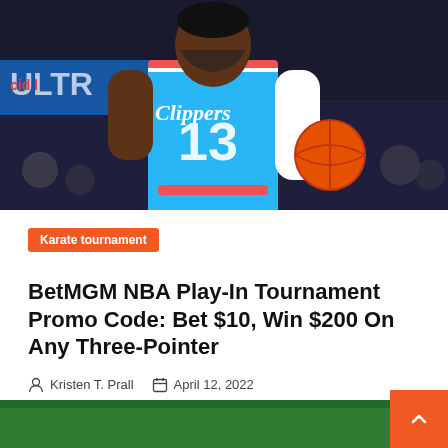[Figure (photo): NBA Clippers player wearing number 13 jersey in light blue uniform, holding a basketball, dribbling on a basketball court]
Karate tournament
BetMGM NBA Play-In Tournament Promo Code: Bet $10, Win $200 On Any Three-Pointer
Kristen T. Prall   April 12, 2022
[Figure (photo): Partial bottom image, appears to be a sports scene with green background]